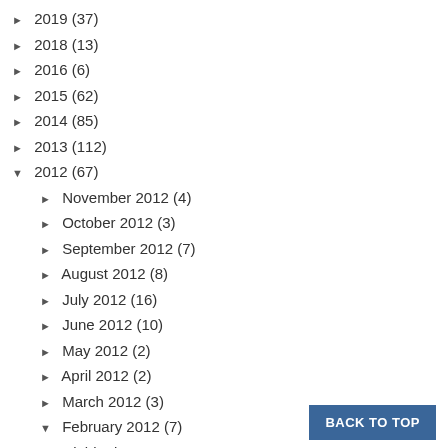► 2019 (37)
► 2018 (13)
► 2016 (6)
► 2015 (62)
► 2014 (85)
► 2013 (112)
▼ 2012 (67)
► November 2012 (4)
► October 2012 (3)
► September 2012 (7)
► August 2012 (8)
► July 2012 (16)
► June 2012 (10)
► May 2012 (2)
► April 2012 (2)
► March 2012 (3)
▼ February 2012 (7)
Field Trip
4th Grade Play
My Teacher Bag
Reflection
A Good Deal
Valentine's, Bulletin Board, & Award
BACK TO TOP